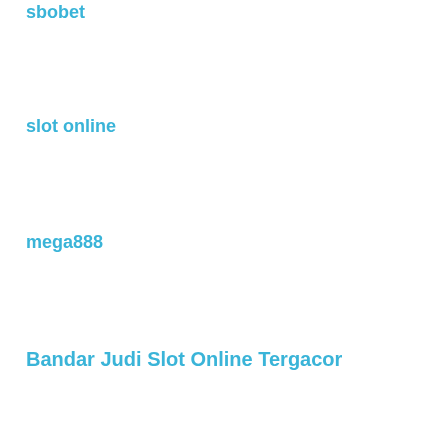sbobet
slot online
mega888
Bandar Judi Slot Online Tergacor